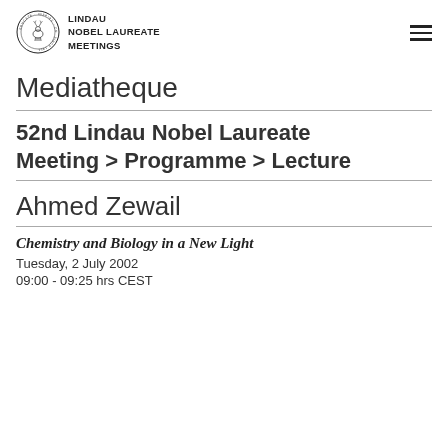[Figure (logo): Lindau Nobel Laureate Meetings logo: circular emblem with text EDUCATE INSPIRE CONNECT SINCE 1951 around a stylized tree/deer image, next to text LINDAU NOBEL LAUREATE MEETINGS]
Mediatheque
52nd Lindau Nobel Laureate Meeting > Programme > Lecture
Ahmed Zewail
Chemistry and Biology in a New Light
Tuesday, 2 July 2002
09:00 - 09:25 hrs CEST